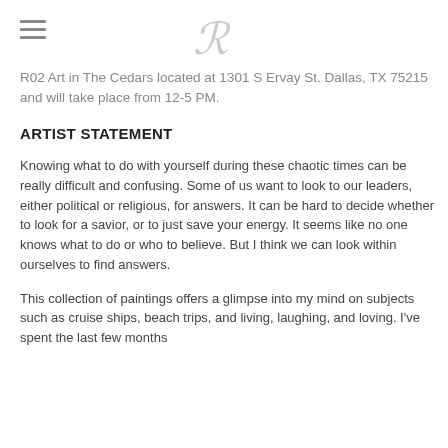R02 Art in The Cedars located at 1301 S Ervay St. Dallas, TX 75215 and will take place from 12-5 PM.
ARTIST STATEMENT
Knowing what to do with yourself during these chaotic times can be really difficult and confusing. Some of us want to look to our leaders, either political or religious, for answers. It can be hard to decide whether to look for a savior, or to just save your energy. It seems like no one knows what to do or who to believe. But I think we can look within ourselves to find answers.
This collection of paintings offers a glimpse into my mind on subjects such as cruise ships, beach trips, and living, laughing, and loving. I've spent the last few months